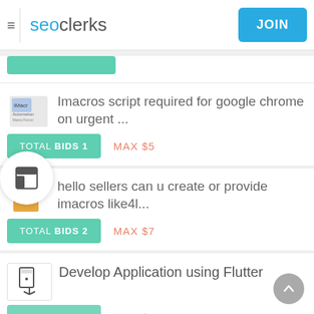seoclerks — JOIN
Imacros script required for google chrome on urgent ... TOTAL BIDS 1  MAX $5
hello sellers can u create or provide imacros like4l... TOTAL BIDS 2  MAX $7
Develop Application using Flutter  TOTAL BIDS 0  MAX $100